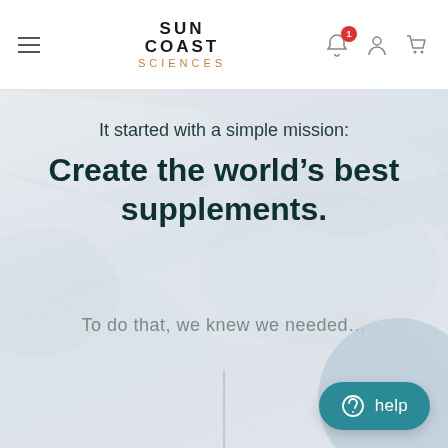Sun Coast Sciences — navigation header with hamburger menu, logo, notification bell (badge: 1), user icon, cart icon
It started with a simple mission:
Create the world’s best supplements.
To do that, we knew we needed…